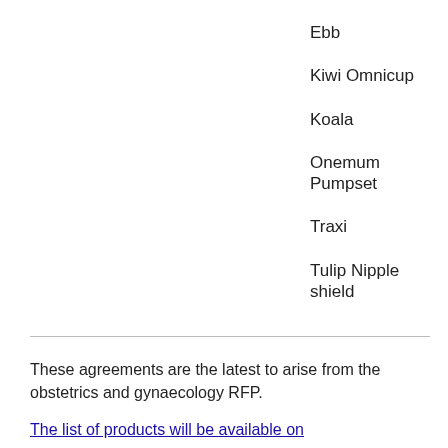Ebb
Kiwi Omnicup
Koala
Onemum Pumpset
Traxi
Tulip Nipple shield
These agreements are the latest to arise from the obstetrics and gynaecology RFP.
The list of products will be available on